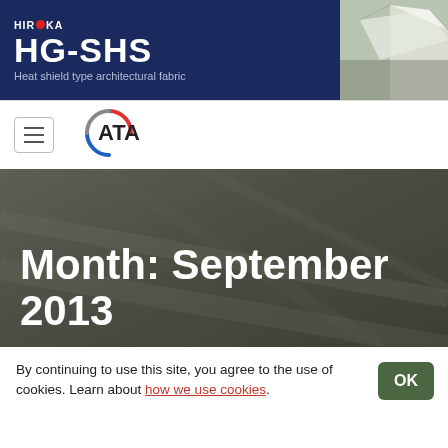[Figure (logo): HIRAOKA HG-SHS Heat shield type architectural fabric banner advertisement with dark navy background and photo of tensile fabric structure on right]
[Figure (logo): ATA logo — circular arc in red and blue with ATA text]
Month: September 2013
By continuing to use this site, you agree to the use of cookies. Learn about how we use cookies.